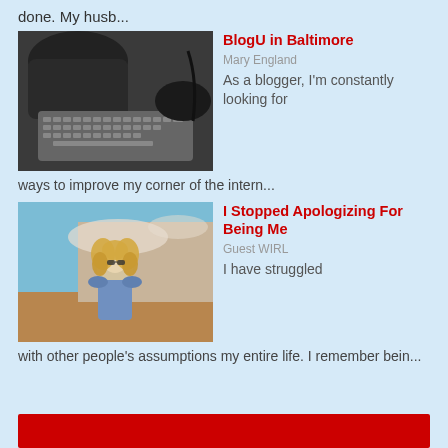done. My husb...
[Figure (photo): Grayscale photo of a keyboard with a coffee mug and a hand using a mouse]
BlogU in Baltimore
Mary England
As a blogger, I'm constantly looking for
ways to improve my corner of the intern...
[Figure (photo): Photo of a young blonde woman with curly hair wearing sunglasses and a denim jacket, standing against a desert landscape backdrop]
I Stopped Apologizing For Being Me
Guest WIRL
I have struggled
with other people's assumptions my entire life. I remember bein...